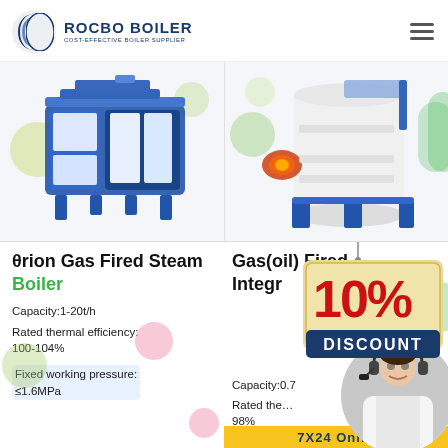[Figure (logo): Rocbo Boiler logo with circular wave icon and text 'ROCBO BOILER / COST-EFFECTIVE BOILER SUPPLIER']
[Figure (photo): Blue and white industrial gas fired steam boiler unit, horizontal configuration]
[Figure (photo): White cylindrical gas/oil fired integrated boiler with blue frame]
θrion Gas Fired Steam Boiler
Gas(oil) Fired Integrated [partially obscured by discount badge]
Capacity:1-20t/h
Rated thermal efficiency: 100-104%
Fixed working pressure: ≤1.6MPa
Capacity:0.7 [partially obscured]
Rated thermal efficiency: 98% [partially obscured]
Fixed working pressure:≤1.25MPa [partially obscured]
[Figure (infographic): 10% DISCOUNT badge hanging sign in red and gold]
[Figure (photo): Customer service representative with headset, circular cropped photo]
7X24 Online